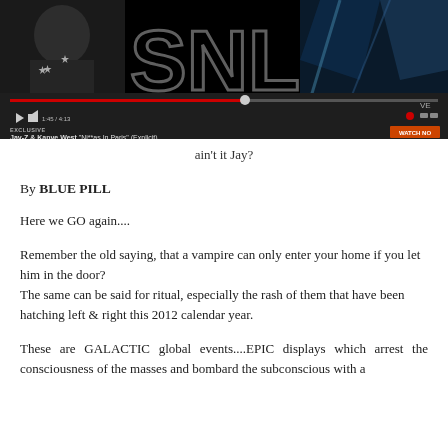[Figure (screenshot): Video screenshot of Jay-Z and Kanye West 'Ni**as In Paris' (Explicit) music video on a streaming platform, showing a performer on stage with SNL text in background, with video player controls, progress bar, and WATCH NOW button]
ain't it Jay?
By BLUE PILL
Here we GO again....
Remember the old saying, that a vampire can only enter your home if you let him in the door?
The same can be said for ritual, especially the rash of them that have been hatching left & right this 2012 calendar year.
These are GALACTIC global events....EPIC displays which arrest the consciousness of the masses and bombard the subconscious with a